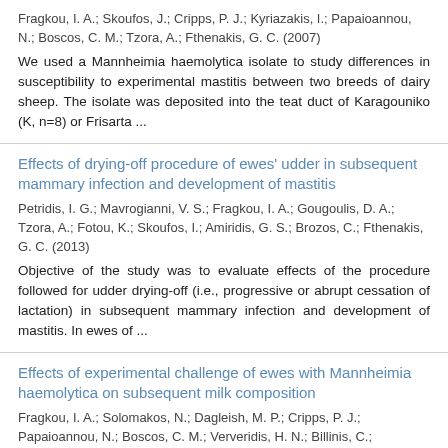Fragkou, I. A.; Skoufos, J.; Cripps, P. J.; Kyriazakis, I.; Papaioannou, N.; Boscos, C. M.; Tzora, A.; Fthenakis, G. C. (2007)
We used a Mannheimia haemolytica isolate to study differences in susceptibility to experimental mastitis between two breeds of dairy sheep. The isolate was deposited into the teat duct of Karagouniko (K, n=8) or Frisarta ...
Effects of drying-off procedure of ewes' udder in subsequent mammary infection and development of mastitis
Petridis, I. G.; Mavrogianni, V. S.; Fragkou, I. A.; Gougoulis, D. A.; Tzora, A.; Fotou, K.; Skoufos, I.; Amiridis, G. S.; Brozos, C.; Fthenakis, G. C. (2013)
Objective of the study was to evaluate effects of the procedure followed for udder drying-off (i.e., progressive or abrupt cessation of lactation) in subsequent mammary infection and development of mastitis. In ewes of ...
Effects of experimental challenge of ewes with Mannheimia haemolytica on subsequent milk composition
Fragkou, I. A.; Solomakos, N.; Dagleish, M. P.; Cripps, P. J.; Papaioannou, N.; Boscos, C. M.; Ververidis, H. N.; Billinis, C.;